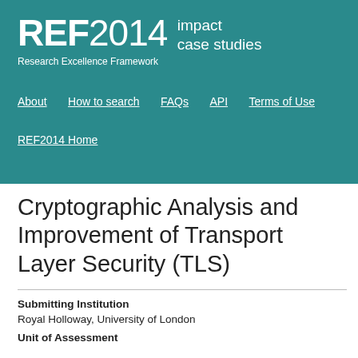REF2014 impact case studies — Research Excellence Framework
About | How to search | FAQs | API | Terms of Use
REF2014 Home
Cryptographic Analysis and Improvement of Transport Layer Security (TLS)
Submitting Institution
Royal Holloway, University of London
Unit of Assessment